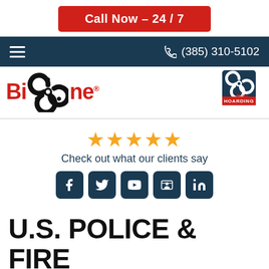Call Now – 24 / 7
(385) 310-5102
[Figure (logo): Bio-One biohazard cleanup company logo with biohazard symbol and red text, plus Bio-One Hoarding sub-brand logo]
★★★★★
Check out what our clients say
[Figure (infographic): Row of five dark blue social media icon buttons: Facebook, Twitter, YouTube, Google Business, LinkedIn]
U.S. POLICE & FIRE CHAMPIONSHIPS